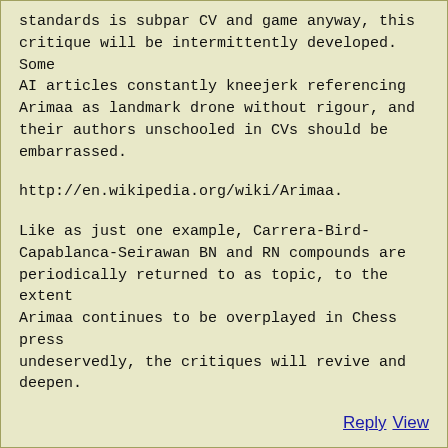standards is subpar CV and game anyway, this critique will be intermittently developed.  Some AI articles constantly kneejerk referencing Arimaa as landmark drone without rigour, and their authors unschooled in CVs should be embarrassed.
http://en.wikipedia.org/wiki/Arimaa.
Like as just one example, Carrera-Bird-Capablanca-Seirawan BN and RN compounds are periodically returned to as topic, to the extent Arimaa continues to be overplayed in Chess press undeservedly, the critiques will revive and deepen.
Reply View
George Duke wrote on 2014-02-09 UTC
Warp Point, http://www.chessvariants.org/diffmove.dir/warp-point-chess.html, was invented in connection with CVPage April 2002.  This CVPage article